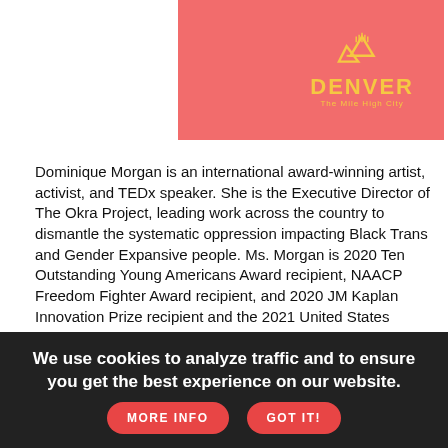[Figure (logo): Denver The Mile High City logo on pink/salmon background with yellow mountain icon and text]
Dominique Morgan is an international award-winning artist, activist, and TEDx speaker. She is the Executive Director of The Okra Project, leading work across the country to dismantle the systematic oppression impacting Black Trans and Gender Expansive people. Ms. Morgan is 2020 Ten Outstanding Young Americans Award recipient, NAACP Freedom Fighter Award recipient, and 2020 JM Kaplan Innovation Prize recipient and the 2021 United States nominee for Ten Outstanding Young People in the World. Her new album "Pisces In E Flat Major" is available on all platforms and her book "Sex Ed for System Facing People" will be available in 2023.
[Figure (photo): Pink/salmon colored image block (partial, cut off at bottom)]
We use cookies to analyze traffic and to ensure you get the best experience on our website.